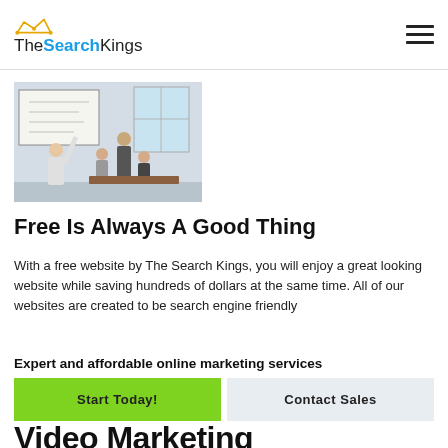TheSearchKings
[Figure (photo): Office team at whiteboard — one person writing on whiteboard while three colleagues look on in a bright modern office setting]
Free Is Always A Good Thing
With a free website by The Search Kings, you will enjoy a great looking website while saving hundreds of dollars at the same time. All of our websites are created to be search engine friendly
Expert and affordable online marketing services
Start Today!
Contact Sales
Video Marketing